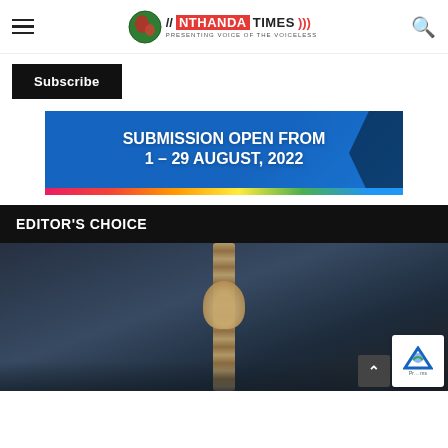Nthanda Times — Presenting Voice of the Voiceless
Subscribe
[Figure (infographic): Blue banner reading 'SUBMISSION OPEN FROM 1 – 29 AUGUST, 2022' with colorful bottom stripe and film strip accent]
EDITOR'S CHOICE
[Figure (photo): Dark moody photo of a hangman's noose/rope knot against a stormy background]